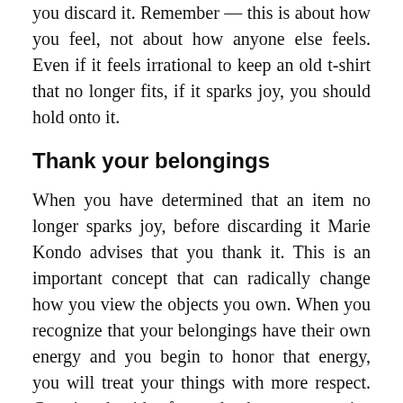you discard it. Remember — this is about how you feel, not about how anyone else feels. Even if it feels irrational to keep an old t-shirt that no longer fits, if it sparks joy, you should hold onto it.
Thank your belongings
When you have determined that an item no longer sparks joy, before discarding it Marie Kondo advises that you thank it. This is an important concept that can radically change how you view the objects you own. When you recognize that your belongings have their own energy and you begin to honor that energy, you will treat your things with more respect. Carrying that idea forward, when you organize the things that you are going to keep, you store them in a way that is easy to see and gives each it...